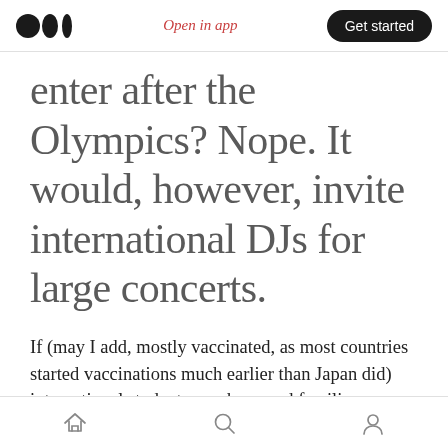Open in app | Get started
enter after the Olympics? Nope. It would, however, invite international DJs for large concerts.
If (may I add, mostly vaccinated, as most countries started vaccinations much earlier than Japan did) international students, workers, and families are such serious threats for Japan, why are (maybe unvaccinated) several international DJs allowed to hold large concerts with thousands of people
Home | Search | Profile